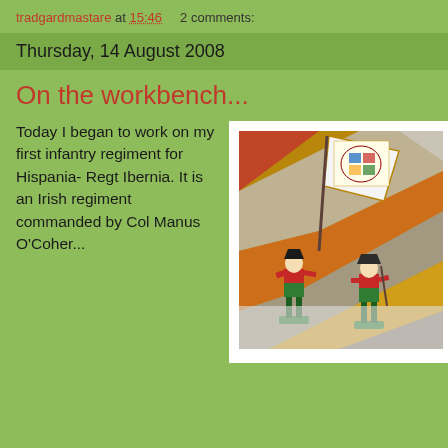tradgardmastare at 15:46    2 comments:
Thursday, 14 August 2008
On the workbench...
[Figure (photo): Two painted miniature soldiers in red and green uniforms on green bases, one carrying a heraldic flag/banner, photographed against a colorful painted background]
Today I began to work on my first infantry regiment for Hispania- Regt Ibernia. It is an Irish regiment commanded by Col Manus O'Coher...